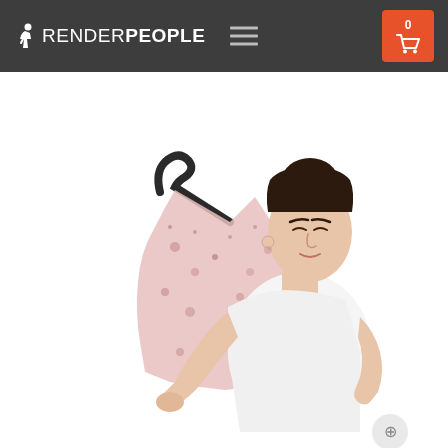RENDERPEOPLE navigation bar with logo, hamburger menu, and cart button showing 0 items
[Figure (photo): A woman with dark hair in a bun, wearing a white t-shirt, holding up a pink floral patterned garment on a black hanger against a white background. She is looking down at the clothing item.]